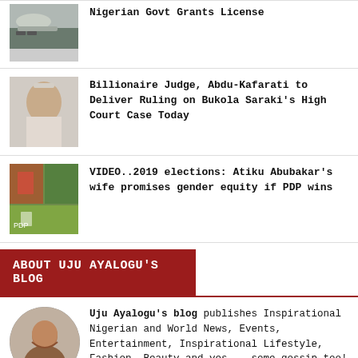[Figure (photo): Partial news thumbnail - airplane on tarmac]
Nigerian Govt Grants License
[Figure (photo): Man with hand on forehead, looking stressed]
Billionaire Judge, Abdu-Kafarati to Deliver Ruling on Bukola Saraki's High Court Case Today
[Figure (photo): Colorful image with crowd/event scene]
VIDEO..2019 elections: Atiku Abubakar's wife promises gender equity if PDP wins
ABOUT UJU AYALOGU'S BLOG
[Figure (photo): Round avatar photo of a woman]
Uju Ayalogu's blog publishes Inspirational Nigerian and World News, Events, Entertainment, Inspirational Lifestyle, Fashion, Beauty and yes... some gossip too! Subscribe to our posts or follow us on one of our social media platforms for our latest news updates.
WINTER WOLF'S "WHAT A WASTE"